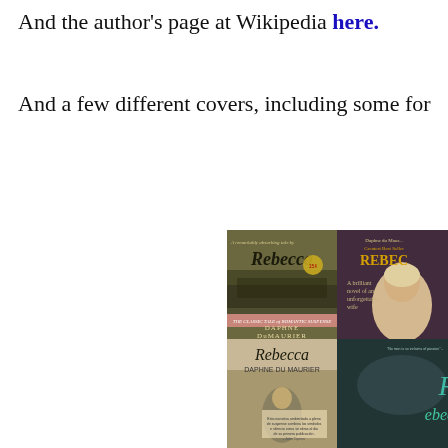And the author's page at Wikipedia here.
And a few different covers, including some for
[Figure (photo): A collage of four different book covers for 'Rebecca' by Daphne du Maurier. Top left: classic sepia/dark green cover with landscape and text 'Rebecca / The Classic Tale of Romantic Suspense / Daphne du Maurier'. Top right: vintage purple cover with a woman's portrait and text 'Daphne du Maurier / Greatest Best Seller / Rebecca / A brilliant novel of an unforgettable wife'. Bottom left: modern cover with a woman walking and text 'Rebecca / Daphne du Maurier'. Bottom right: teal/dark cover with stylized 'Rebecca' script text.]